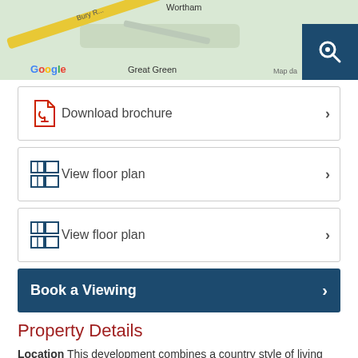[Figure (map): Google Maps partial view showing Great Green area with Wortham label, Bury Road, yellow road, and a search button overlay in dark blue]
Download brochure
View floor plan
View floor plan
Book a Viewing
Property Details
Location This development combines a country style of living with easy access to the wider world and is excellent for the commuter with a mainline rail service at Diss to London Liverpool Street just a couple of miles away. This line is due to be upgraded in the next few years making the journey